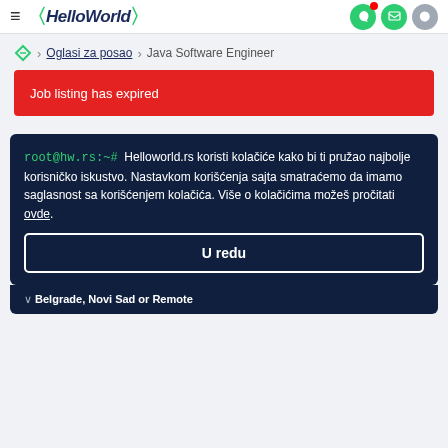≡ «HelloWorld» [notification icon] [message icon] [moon icon]
/ > Oglasi za posao > Java Software Engineer
Job listing has expired
root@hw.rs:~# Helloworld.rs koristi kolačiće kako bi ti pružao najbolje korisničko iskustvo. Nastavkom korišćenja sajta smatraćemo da imamo saglasnost sa korišćenjem kolačića. Više o kolačićima možeš pročitati ovde.
U redu
Belgrade, Novi Sad or Remote